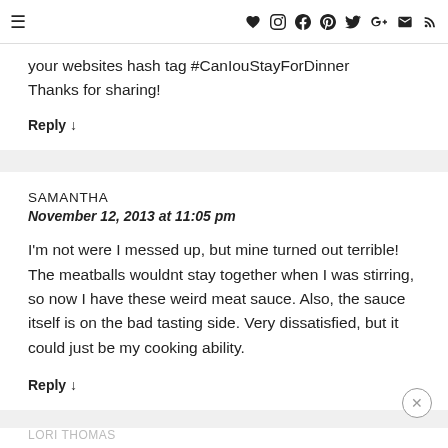≡ ♥ Instagram Facebook Pinterest Twitter G+ Email RSS
your websites hash tag #CanIouStayForDinner
Thanks for sharing!
Reply ↓
SAMANTHA
November 12, 2013 at 11:05 pm
I'm not were I messed up, but mine turned out terrible! The meatballs wouldnt stay together when I was stirring, so now I have these weird meat sauce. Also, the sauce itself is on the bad tasting side. Very dissatisfied, but it could just be my cooking ability.
Reply ↓